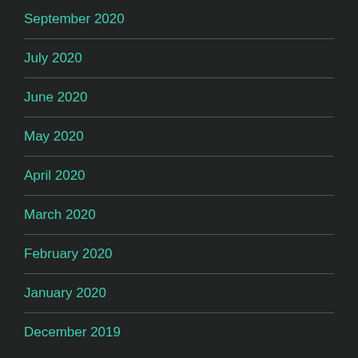September 2020
July 2020
June 2020
May 2020
April 2020
March 2020
February 2020
January 2020
December 2019